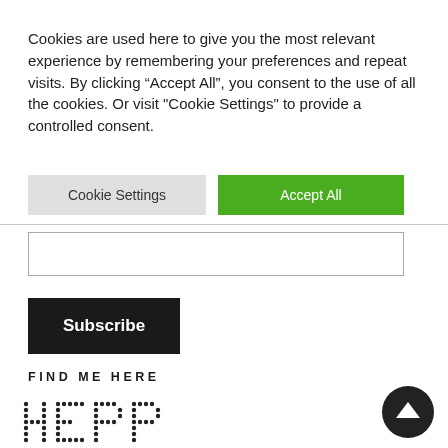Cookies are used here to give you the most relevant experience by remembering your preferences and repeat visits. By clicking “Accept All”, you consent to the use of all the cookies. Or visit "Cookie Settings" to provide a controlled consent.
Cookie Settings
Accept All
Subscribe
FIND ME HERE
[Figure (other): Dotted pixel-art letters spelling HEP or similar abbreviation]
[Figure (other): Circular scroll-to-top button with upward arrow, dark background]